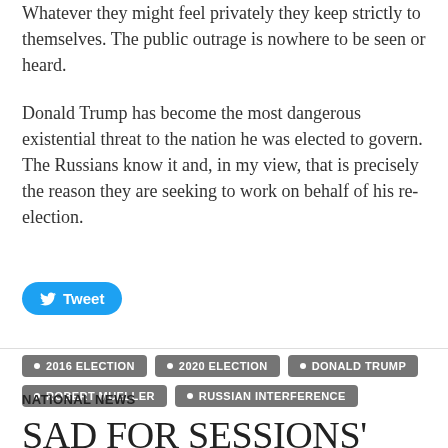Whatever they might feel privately they keep strictly to themselves. The public outrage is nowhere to be seen or heard.
Donald Trump has become the most dangerous existential threat to the nation he was elected to govern. The Russians know it and, in my view, that is precisely the reason they are seeking to work on behalf of his re-election.
[Figure (other): Tweet button (Twitter share button in blue rounded pill shape)]
2016 ELECTION
2020 ELECTION
DONALD TRUMP
ROBERT MUELLER
RUSSIAN INTERFERENCE
NATIONAL NEWS
SAD FOR SESSIONS'